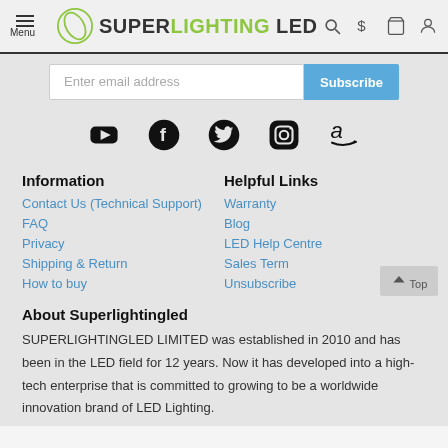Super Lighting LED - Menu, Search, $, Cart, Account icons
Enter email address
Subscribe
[Figure (logo): Social media icons: YouTube, Facebook, Twitter, Instagram, Amazon]
Information
Contact Us (Technical Support)
FAQ
Privacy
Shipping & Return
How to buy
Helpful Links
Warranty
Blog
LED Help Centre
Sales Term
Unsubscribe
About Superlightingled
SUPERLIGHTINGLED LIMITED was established in 2010 and has been in the LED field for 12 years. Now it has developed into a high-tech enterprise that is committed to growing to be a worldwide innovation brand of LED Lighting.